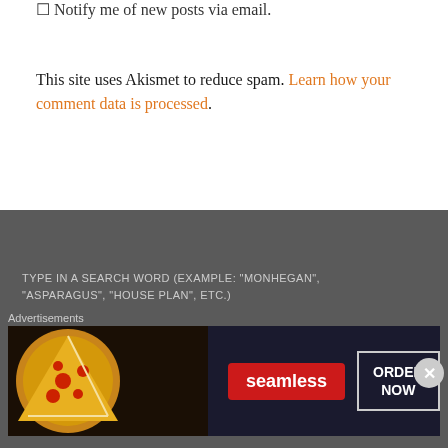Notify me of new posts via email.
This site uses Akismet to reduce spam. Learn how your comment data is processed.
TYPE IN A SEARCH WORD (EXAMPLE: “MONHEGAN”, “ASPARAGUS”, “HOUSE PLAN”, ETC.)
Search ...
Advertisements
[Figure (screenshot): Seamless food delivery advertisement banner showing pizza and ORDER NOW button]